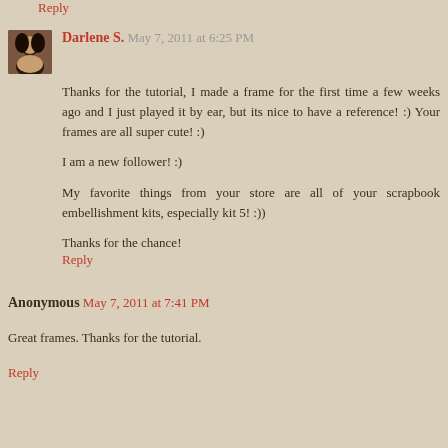Reply
Darlene S. May 7, 2011 at 6:25 PM
Thanks for the tutorial, I made a frame for the first time a few weeks ago and I just played it by ear, but its nice to have a reference! :) Your frames are all super cute! :)
I am a new follower! :)
My favorite things from your store are all of your scrapbook embellishment kits, especially kit 5! :))
Thanks for the chance!
Reply
Anonymous May 7, 2011 at 7:41 PM
Great frames. Thanks for the tutorial.
Reply